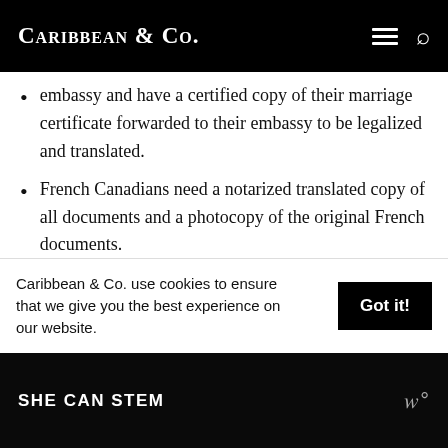Caribbean & Co.
embassy and have a certified copy of their marriage certificate forwarded to their embassy to be legalized and translated.
French Canadians need a notarized translated copy of all documents and a photocopy of the original French documents.
Caribbean & Co. use cookies to ensure that we give you the best experience on our website.
SHE CAN STEM